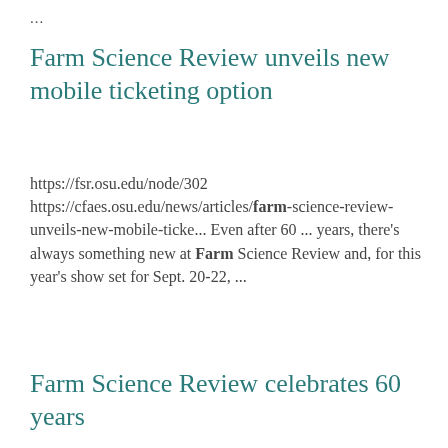...
Farm Science Review unveils new mobile ticketing option
https://fsr.osu.edu/node/302 https://cfaes.osu.edu/news/articles/farm-science-review-unveils-new-mobile-ticke... Even after 60 ... years, there’s always something new at Farm Science Review and, for this year’s show set for Sept. 20-22, ...
Farm Science Review celebrates 60 years